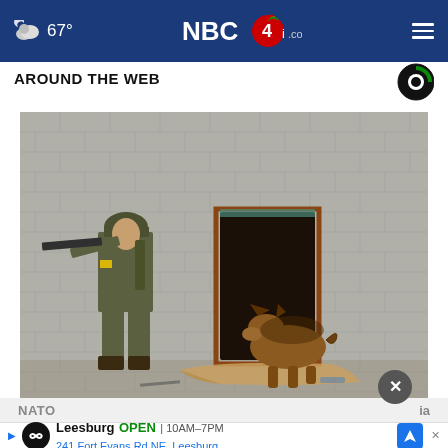67° NBC4i.com
AROUND THE WEB
[Figure (photo): A soldier in camouflage military gear with a rifle approaches a doorway of a brick building while a German Shepherd dog enters through the dark opening. Debris including a cardboard panel lies on the ground.]
NATO ... ia
Leesburg  OPEN  10AM–7PM  241 Fort Evans Rd NE, Leesburg